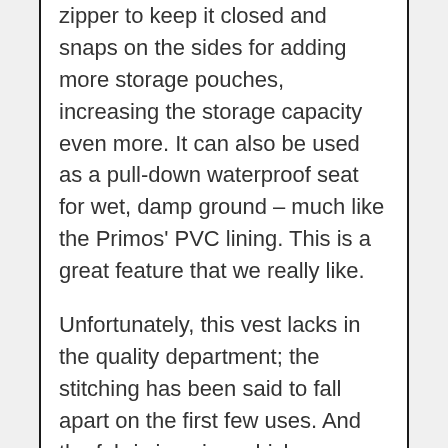zipper to keep it closed and snaps on the sides for adding more storage pouches, increasing the storage capacity even more. It can also be used as a pull-down waterproof seat for wet, damp ground – much like the Primos' PVC lining. This is a great feature that we really like.
Unfortunately, this vest lacks in the quality department; the stitching has been said to fall apart on the first few uses. And the fabric is noisy, which undermines it's use for hunting. And the shell loops are too small for many shells. It's just not well constructed.